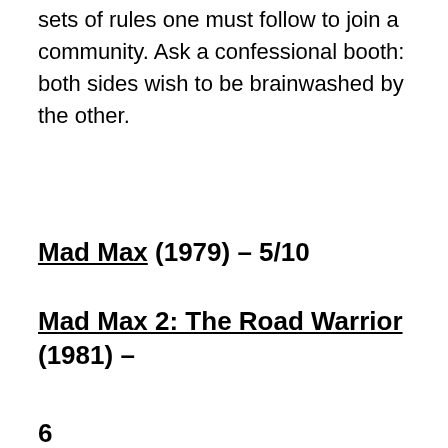sets of rules one must follow to join a community. Ask a confessional booth: both sides wish to be brainwashed by the other.
Mad Max (1979) – 5/10
Mad Max 2: The Road Warrior (1981) – 6
Mad Max: Fury Road (2015) – 8/10
Picture: Sour Mi…